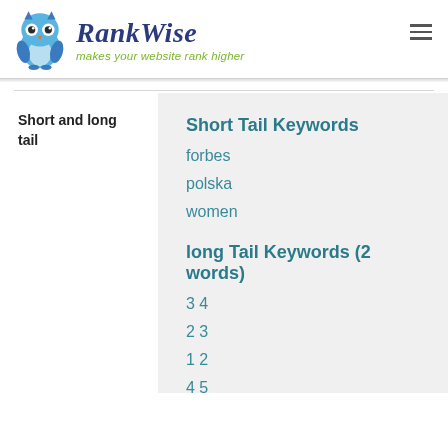[Figure (logo): RankWise owl logo with brand name and tagline 'makes your website rank higher']
Short and long tail
Short Tail Keywords
forbes
polska
women
long Tail Keywords (2 words)
3 4
2 3
1 2
4 5
5 6
long Tail Keywords (3 words)